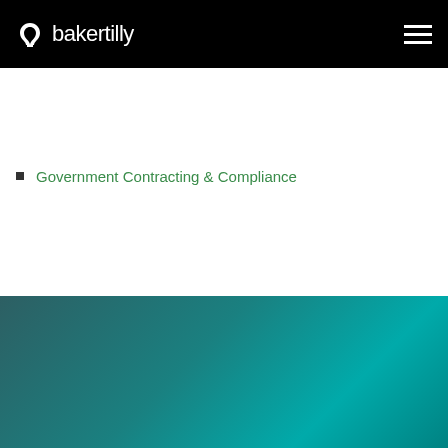bakertilly
Government Contracting & Compliance
[Figure (illustration): Teal and dark green gradient background section]
We use cookies to enable necessary site functionality, to provide the best possible user experience, and to tailor future communications. By using this website, you agree to the use of cookies as outlined in Baker Tilly's online Privacy policy.
Yes   No   Cookies & tracking